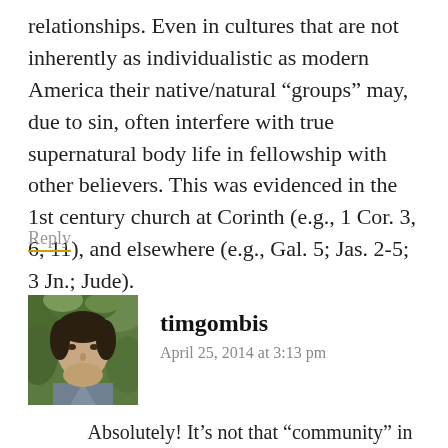relationships. Even in cultures that are not inherently as individualistic as modern America their native/natural “groups” may, due to sin, often interfere with true supernatural body life in fellowship with other believers. This was evidenced in the 1st century church at Corinth (e.g., 1 Cor. 3, 6, 11), and elsewhere (e.g., Gal. 5; Jas. 2-5; 3 Jn.; Jude).
Reply
[Figure (photo): Profile photo of timgombis - a man with short dark hair against a green leafy background]
timgombis
April 25, 2014 at 3:13 pm
Absolutely! It’s not that “community” in general is a good thing. Group loyalties can be idolatrous and